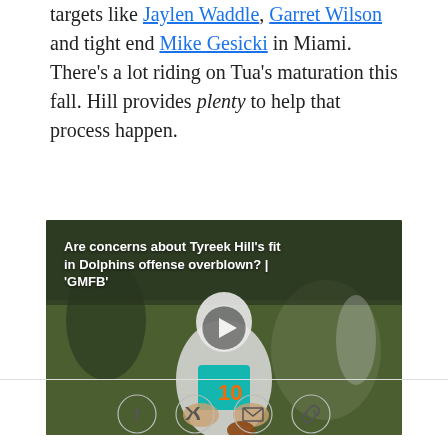targets like Jaylen Waddle, Garret Wilson and tight end Mike Gesicki in Miami. There's a lot riding on Tua's maturation this fall. Hill provides plenty to help that process happen.
[Figure (photo): Video thumbnail showing a Miami Dolphins player wearing jersey #10 (Tyreek Hill) catching a football during practice, with overlay text: 'Are concerns about Tyreek Hill's fit in Dolphins offense overblown? | GMFB' and a play button in the center.]
[Figure (infographic): Social sharing bar with four circular icons: Facebook, Twitter, Email, and Link/chain.]